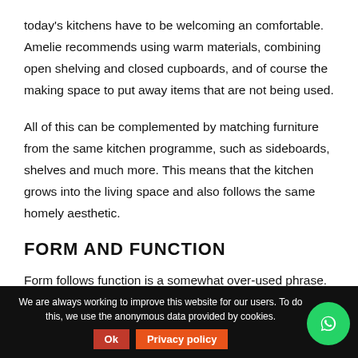today's kitchens have to be welcoming an comfortable. Amelie recommends using warm materials, combining open shelving and closed cupboards, and of course the making space to put away items that are not being used.
All of this can be complemented by matching furniture from the same kitchen programme, such as sideboards, shelves and much more. This means that the kitchen grows into the living space and also follows the same homely aesthetic.
FORM AND FUNCTION
Form follows function is a somewhat over-used phrase. It is nevertheless important in kitchen design. How can drawers
We are always working to improve this website for our users. To do this, we use the anonymous data provided by cookies.